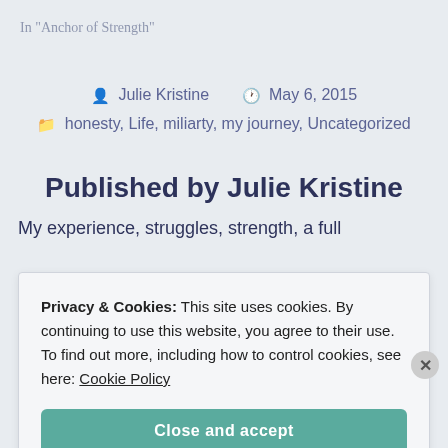In "Anchor of Strength"
Julie Kristine  May 6, 2015
honesty, Life, miliarty, my journey, Uncategorized
Published by Julie Kristine
My experience, struggles, strength, a full
Privacy & Cookies: This site uses cookies. By continuing to use this website, you agree to their use. To find out more, including how to control cookies, see here: Cookie Policy
Close and accept